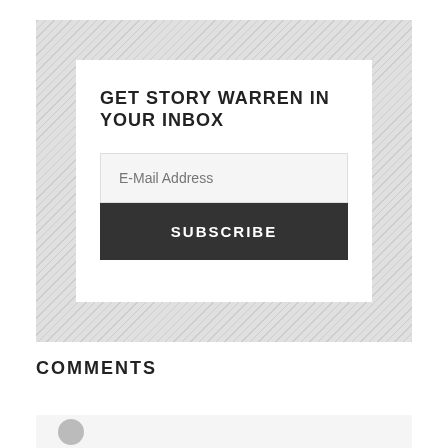GET STORY WARREN IN YOUR INBOX
[Figure (infographic): Email subscription widget with a hatched/striped border background, white inner panel containing the title 'GET STORY WARREN IN YOUR INBOX', an E-Mail Address input field, and a dark SUBSCRIBE button.]
COMMENTS